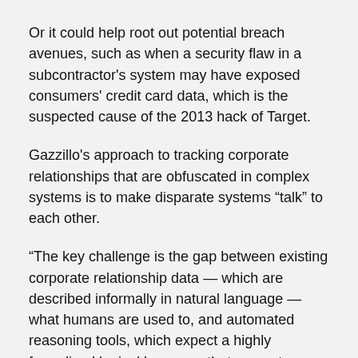Or it could help root out potential breach avenues, such as when a security flaw in a subcontractor's system may have exposed consumers' credit card data, which is the suspected cause of the 2013 hack of Target.
Gazzillo's approach to tracking corporate relationships that are obfuscated in complex systems is to make disparate systems “talk” to each other.
“The key challenge is the gap between existing corporate relationship data — which are described informally in natural language — what humans are used to, and automated reasoning tools, which expect a highly formalized logical language that computers can work with more easily,” he says.
To overcome this challenge, the researcher will work to define corporate relationship data in machine-readable terms, use machine transformation